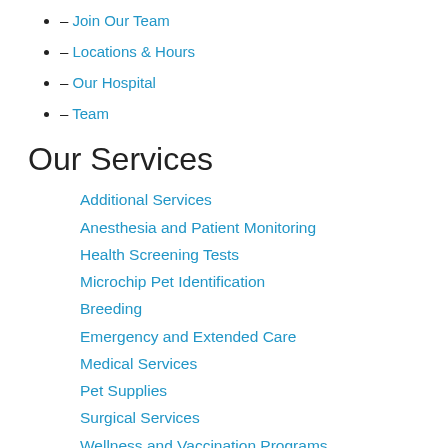- Join Our Team
- Locations & Hours
- Our Hospital
- Team
Our Services
Additional Services
Anesthesia and Patient Monitoring
Health Screening Tests
Microchip Pet Identification
Breeding
Emergency and Extended Care
Medical Services
Pet Supplies
Surgical Services
Wellness and Vaccination Programs